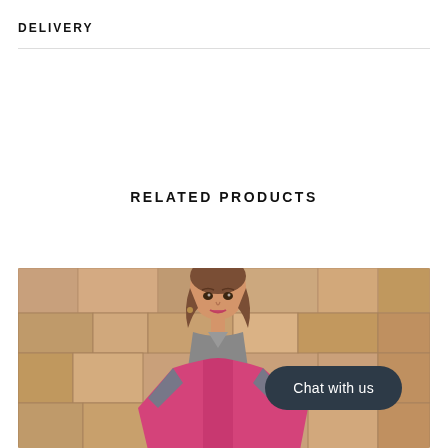DELIVERY
RELATED PRODUCTS
[Figure (photo): Fashion model wearing a pink/magenta vest over a grey collared shirt, standing in front of a wooden block wall background. A dark rounded 'Chat with us' button overlay appears in the bottom right of the image.]